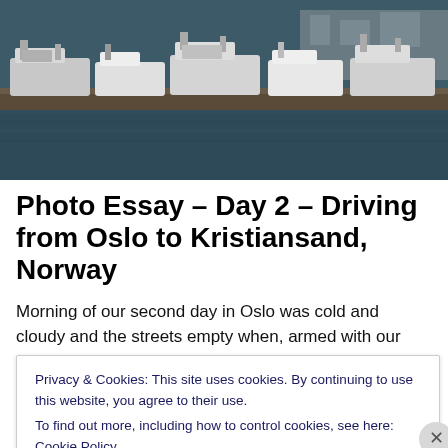[Figure (photo): Harbor scene with multiple boats moored at a dock, dark water, overcast sky]
Photo Essay – Day 2 – Driving from Oslo to Kristiansand, Norway
Morning of our second day in Oslo was cold and cloudy and the streets empty when, armed with our backpacks,
Privacy & Cookies: This site uses cookies. By continuing to use this website, you agree to their use.
To find out more, including how to control cookies, see here: Cookie Policy